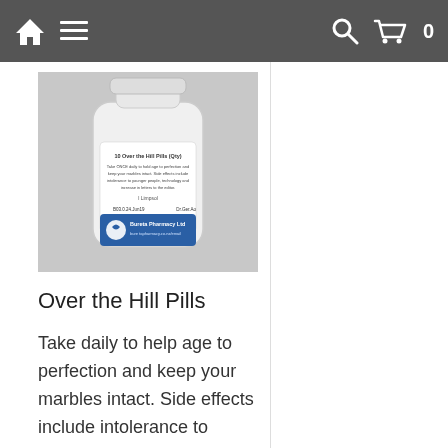Navigation bar with home icon, menu icon, search icon, cart (0)
[Figure (photo): A white pill bottle with a blue label reading 'Bureta Pharmacy Ltd' and text '10 Over the Hill Pills (Qty)'. The label describes dosage instructions and side effects.]
Over the Hill Pills
Take daily to help age to perfection and keep your marbles intact. Side effects include intolerance to younger people, technology and an increase in "letters to the editor". (Please remember these medicamints have